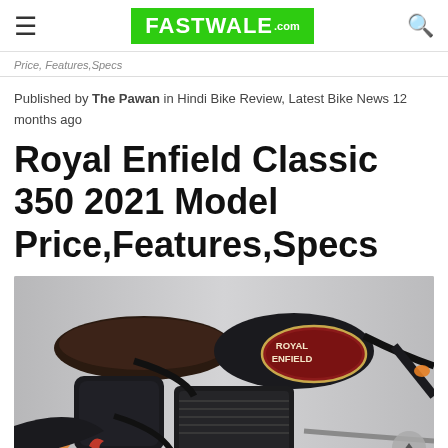FASTWALE.com
Price, Features,Specs
Published by The Pawan in Hindi Bike Review, Latest Bike News 12 months ago
Royal Enfield Classic 350 2021 Model Price,Features,Specs
[Figure (photo): Close-up photograph of a Royal Enfield Classic 350 motorcycle in black color with red fuel tank badge showing ROYAL ENFIELD branding, brown leather seat visible, engine and chrome details shown]